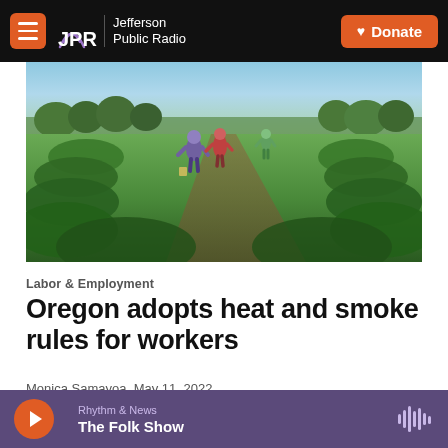JPR Jefferson Public Radio | Donate
[Figure (photo): Agricultural workers walking through rows of blueberry bushes in a field, with trees and blue sky in the background. Workers are shown from behind wearing colorful clothing.]
Labor & Employment
Oregon adopts heat and smoke rules for workers
Monica Samayoa, May 11, 2022
The rules require access to shade, water and cool-down
Rhythm & News | The Folk Show